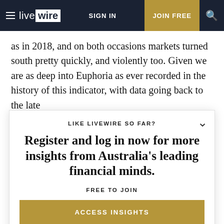live wire | SIGN IN | JOIN FREE
as in 2018, and on both occasions markets turned south pretty quickly, and violently too. Given we are as deep into Euphoria as ever recorded in the history of this indicator, with data going back to the late
LIKE LIVEWIRE SO FAR?
Register and log in now for more insights from Australia's leading financial minds.
FREE TO JOIN
ACCESS INSIGHTS
place. Despite the push-back today, all strategists remain undeterred; the indicator will prove